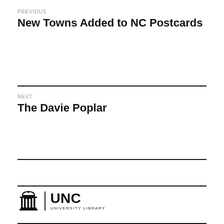PREVIOUS
New Towns Added to NC Postcards
NEXT
The Davie Poplar
[Figure (logo): UNC University Library logo with columns icon and text]